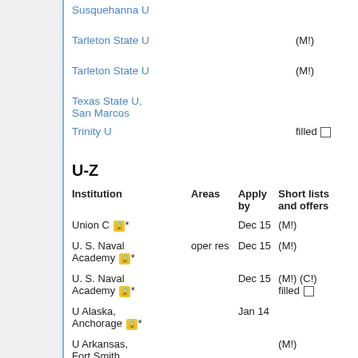Susquehanna U
Tarleton State U  (M!)
Tarleton State U  (M!)
Texas State U, San Marcos
Trinity U  filled □
U-Z
| Institution | Areas | Apply by | Short lists and offers |
| --- | --- | --- | --- |
| Union C 🔒* |  | Dec 15 | (M!) |
| U. S. Naval Academy 🔒* | oper res | Dec 15 | (M!) |
| U. S. Naval Academy 🔒* |  | Dec 15 | (M!) (C!) filled □ |
| U Alaska, Anchorage 🔒* |  | Jan 14 |  |
| U Arkansas, Fort Smith |  |  | (M!) |
| U Central | math ed |  |  |